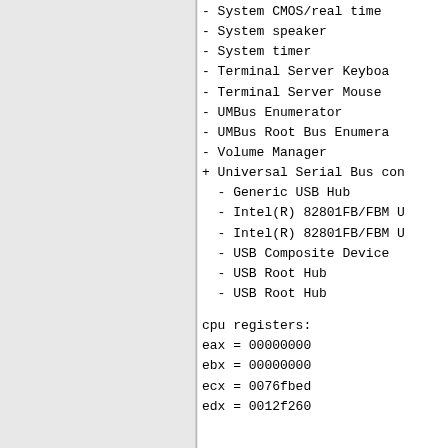- System CMOS/real time
- System speaker
- System timer
- Terminal Server Keyboa
- Terminal Server Mouse
- UMBus Enumerator
- UMBus Root Bus Enumera
- Volume Manager
+ Universal Serial Bus con
- Generic USB Hub
- Intel(R) 82801FB/FBM U
- Intel(R) 82801FB/FBM U
- USB Composite Device
- USB Root Hub
- USB Root Hub
cpu registers:
eax = 00000000
ebx = 00000000
ecx = 0076fbed
edx = 0012f260